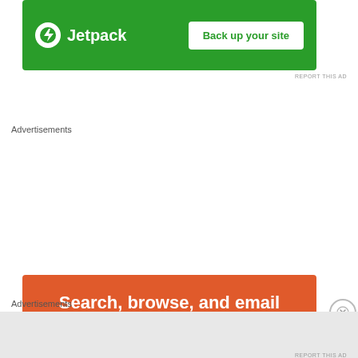[Figure (illustration): Jetpack advertisement banner with green background, Jetpack logo (white lightning bolt icon in circle), text 'Jetpack', and a white button 'Back up your site']
REPORT THIS AD
Advertisements
[Figure (illustration): DuckDuckGo advertisement on orange/red background with bold white text 'Search, browse, and email with more privacy.' and white pill button 'All in One Free App', with a phone image at the bottom]
Advertisements
[Figure (illustration): DuckDuckGo smaller advertisement on orange/red background with white text 'Search, browse, and email with more privacy.' and 'All in One Free App' button, phone illustration and DuckDuckGo logo on the right side]
REPORT THIS AD